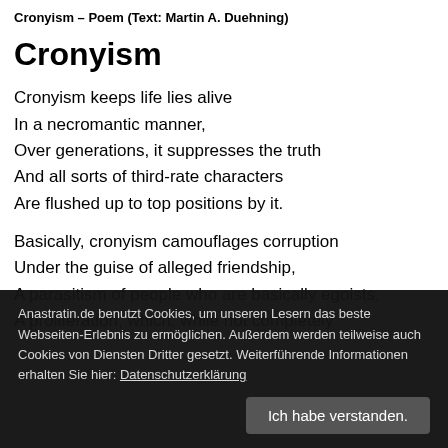Cronyism – Poem (Text: Martin A. Duehning)
Cronyism
Cronyism keeps life lies alive
In a necromantic manner,
Over generations, it suppresses the truth
And all sorts of third-rate characters
Are flushed up to top positions by it.
Basically, cronyism camouflages corruption
Under the guise of alleged friendship,
A parasitism of people who are basically egoists,
A proliferation, which, while not completely
Anastratin.de benutzt Cookies, um unseren Lesern das beste Webseiten-Erlebnis zu ermöglichen. Außerdem werden teilweise auch Cookies von Diensten Dritter gesetzt. Weiterführende Informationen erhalten Sie hier: Datenschutzerklärung
Ich habe verstanden.